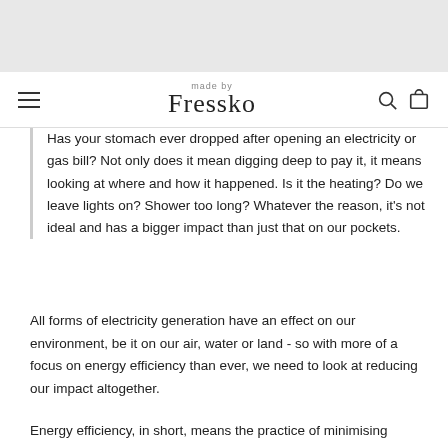made by Fressko
Has your stomach ever dropped after opening an electricity or gas bill? Not only does it mean digging deep to pay it, it means looking at where and how it happened. Is it the heating? Do we leave lights on? Shower too long? Whatever the reason, it’s not ideal and has a bigger impact than just that on our pockets.
All forms of electricity generation have an effect on our environment, be it on our air, water or land - so with more of a focus on energy efficiency than ever, we need to look at reducing our impact altogether.
Energy efficiency, in short, means the practice of minimising